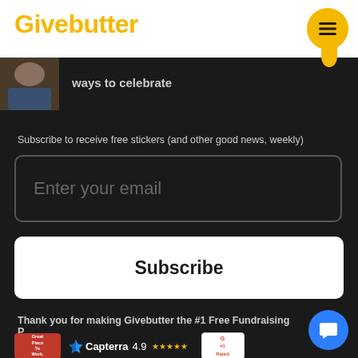Givebutter
ways to celebrate
Subscribe to receive free stickers (and other good news, weekly)
Enter your email
Subscribe
Thank you for making Givebutter the #1 Free Fundraising P
[Figure (logo): Great Place To Work badge]
[Figure (logo): Capterra logo with 4.9 star rating]
[Figure (logo): G2 #1 Rated badge]